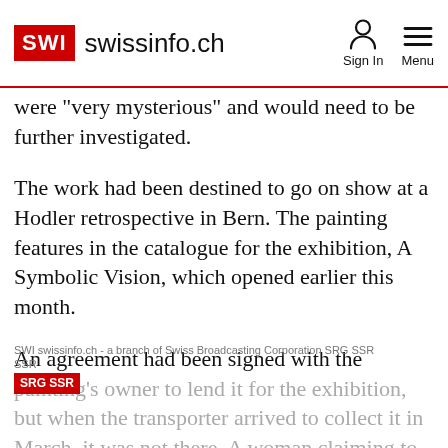SWI swissinfo.ch   Sign In   Menu
were "very mysterious" and would need to be further investigated.
The work had been destined to go on show at a Hodler retrospective in Bern. The painting features in the catalogue for the exhibition, A Symbolic Vision, which opened earlier this month.
An agreement had been signed with the painting's owner to lend it for the exhibition, but when the transporter arrived to collect it in March, it was not there. A woman claiming to be from the transport company had allegedly
SWI swissinfo.ch - a branch of Swiss Broadcasting Corporation SRG SSR   SRG SSR